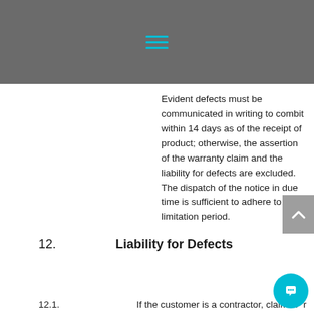Evident defects must be communicated in writing to combit within 14 days as of the receipt of product; otherwise, the assertion of the warranty claim and the liability for defects are excluded. The dispatch of the notice in due time is sufficient to adhere to the limitation period.
12. Liability for Defects
12.1. If the customer is a contractor, claims for damage due to defects of the goods